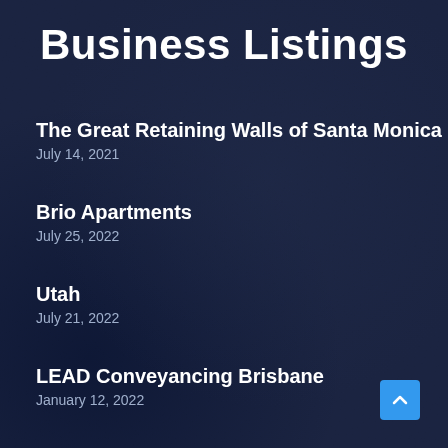Business Listings
The Great Retaining Walls of Santa Monica
July 14, 2021
Brio Apartments
July 25, 2022
Utah
July 21, 2022
LEAD Conveyancing Brisbane
January 12, 2022